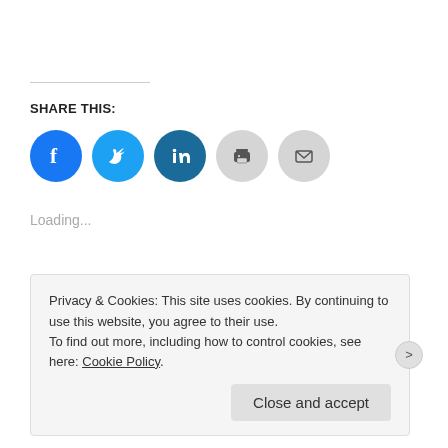SHARE THIS:
[Figure (infographic): Five social sharing icon circles: Facebook (blue), Twitter (light blue), LinkedIn (dark teal), Print (light gray), Email (light gray)]
Loading...
Permalink.
Privacy & Cookies: This site uses cookies. By continuing to use this website, you agree to their use.
To find out more, including how to control cookies, see here: Cookie Policy
Close and accept